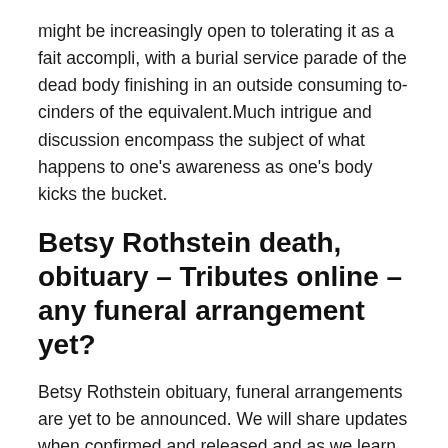might be increasingly open to tolerating it as a fait accompli, with a burial service parade of the dead body finishing in an outside consuming to-cinders of the equivalent.Much intrigue and discussion encompass the subject of what happens to one's awareness as one's body kicks the bucket.
Betsy Rothstein death, obituary – Tributes online – any funeral arrangement yet?
Betsy Rothstein obituary, funeral arrangements are yet to be announced. We will share updates when confirmed and released and as we learn more.